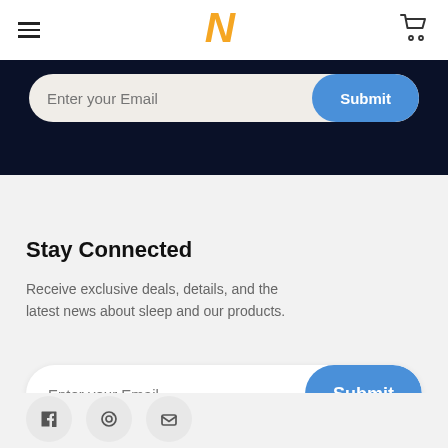[Figure (logo): Orange italic N logo centered in white navbar]
[Figure (screenshot): Email input form with Submit button on dark navy background]
Stay Connected
Receive exclusive deals, details, and the latest news about sleep and our products.
[Figure (screenshot): Email subscription form with Enter your Email input and Submit button on light grey background]
[Figure (screenshot): Three circular social media icon buttons partially visible at bottom]